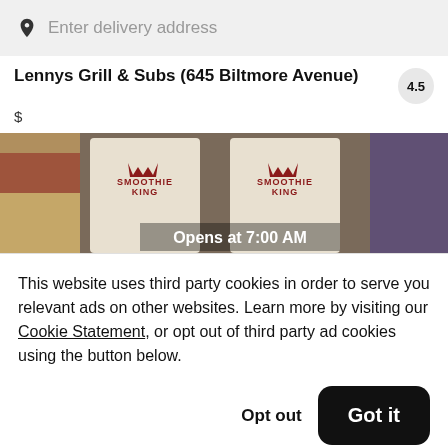Enter delivery address
Lennys Grill & Subs (645 Biltmore Avenue)
4.5
$
[Figure (photo): Restaurant banner image showing Smoothie King branding with text 'Opens at 7:00 AM' overlaid]
This website uses third party cookies in order to serve you relevant ads on other websites. Learn more by visiting our Cookie Statement, or opt out of third party ad cookies using the button below.
Opt out
Got it